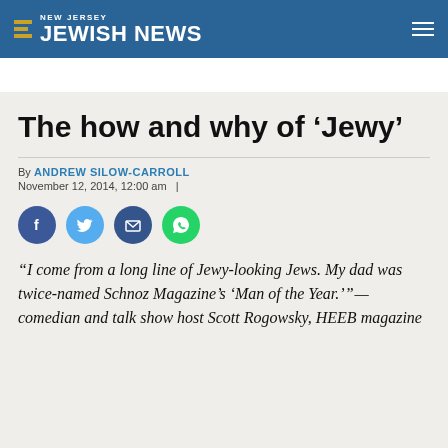NEW JERSEY JEWISH NEWS
The how and why of ‘Jewy’
By ANDREW SILOW-CARROLL
November 12, 2014, 12:00 am  |
[Figure (infographic): Social sharing icons: Facebook, Twitter, Email, WhatsApp]
“I come from a long line of Jewy-looking Jews. My dad was twice-named Schnoz Magazine’s ‘Man of the Year.’” — comedian and talk show host Scott Rogowsky, HEEB magazine